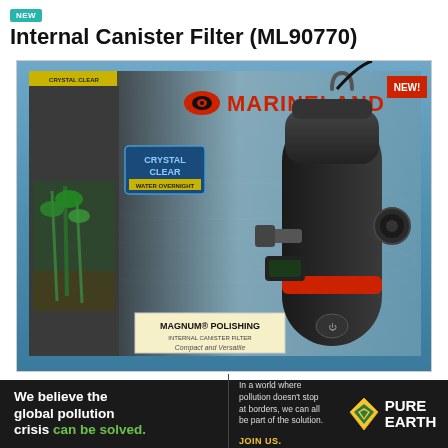Internal Canister Filter (ML90770)
[Figure (photo): Product photo of Marineland Magnum Polishing Internal Canister Filter (ML90770) in its retail box. The box shows the Marineland logo in red, a 'NEW!' badge in the top right corner, a 'Crystal Clear Water Overnight' badge on the left side, and 'Magnum Polishing Internal Canister Filter' and 'Compact and Versatile' text at the bottom. The black cylindrical filter unit is prominently displayed in front of the blue-themed box with water imagery.]
We believe the global pollution crisis can be solved.
In a world where pollution doesn't stop at borders, we can all be part of the solution. JOIN US.
[Figure (logo): Pure Earth logo with diamond/arrow icon and 'PURE EARTH' text in white]